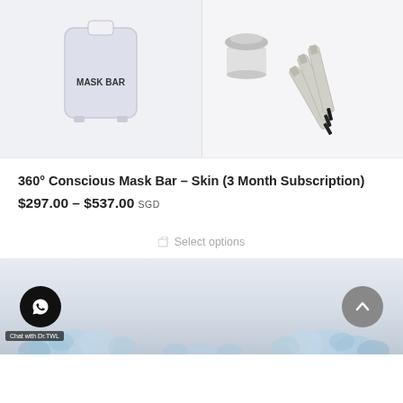[Figure (photo): Two product images side by side: left shows a white Mask Bar device, right shows syringes/pens with a small jar]
360° Conscious Mask Bar – Skin (3 Month Subscription)
$297.00 – $537.00 SGD
Select options
[Figure (photo): Bottom banner with blue flowers decoration, WhatsApp chat button labeled 'Chat with Dr.TWL', and scroll-to-top button]